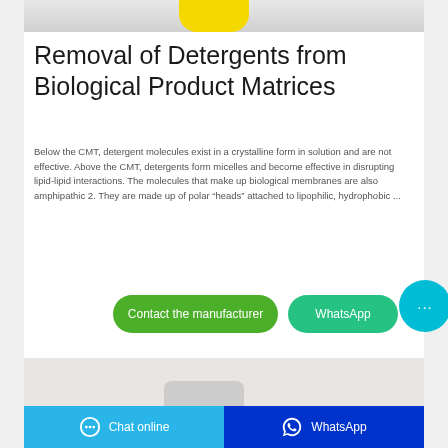[Figure (photo): Top portion of product image showing yellow object on light background]
Removal of Detergents from Biological Product Matrices
Below the CMT, detergent molecules exist in a crystalline form in solution and are not effective. Above the CMT, detergents form micelles and become effective in disrupting lipid-lipid interactions. The molecules that make up biological membranes are also amphipathic 2. They are made up of polar “heads” attached to lipophilic, hydrophobic ...
[Figure (other): Contact the manufacturer button (green rounded rectangle)]
[Figure (other): WhatsApp button (teal rounded rectangle)]
[Figure (other): Chat bubble icon (cyan circle with ellipsis)]
[Figure (photo): Bottom portion of product image on light grey background]
Chat online   WhatsApp